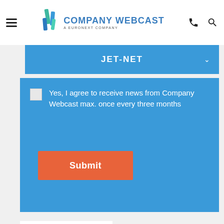COMPANY WEBCAST – A EURONEXT COMPANY
JET-NET
Yes, I agree to receive news from Company Webcast max. once every three months
Submit
[Figure (logo): Jet-Net logo with tagline: Jongeren en Technologie Netwerk Nederland]
W